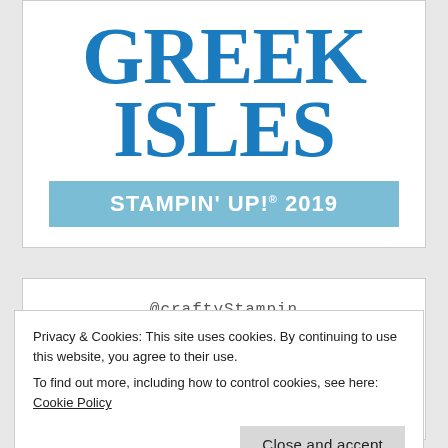GREEK ISLES
STAMPIN' UP!® 2019
@craftyStampin
Privacy & Cookies: This site uses cookies. By continuing to use this website, you agree to their use.
To find out more, including how to control cookies, see here: Cookie Policy
Close and accept